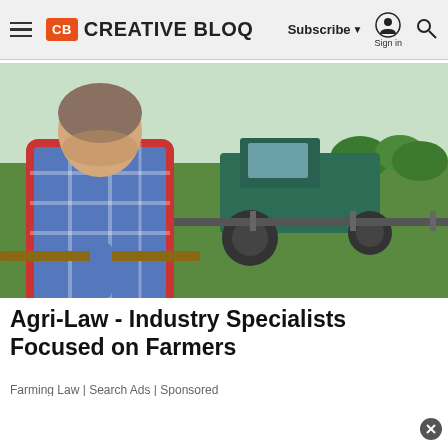Creative Bloq — Subscribe | Sign in | Search
[Figure (photo): A man in a blue plaid shirt leaning on a fence in a field, with a green tractor and farm equipment in the background.]
Agri-Law - Industry Specialists Focused on Farmers
Farming Law | Search Ads | Sponsored
[Figure (photo): Partial view of a second image showing solar panels or a grid-like structure and a red and white flag or banner, partially obscured by a white overlay with a close button.]